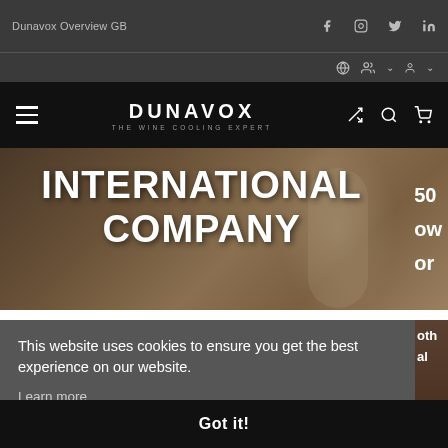Dunavox Overview GB
[Figure (screenshot): Dunavox website screenshot showing navigation bar with logo 'DUNAVOX THE WINE COOLING EXPERT', hamburger menu, social icons (Facebook, Instagram, Twitter, LinkedIn), hero banner with 'INTERNATIONAL COMPANY' text over wine glass background, and cookie consent banner.]
INTERNATIONAL COMPANY
This website uses cookies to ensure you get the best experience on our website.
Learn more
Got it!